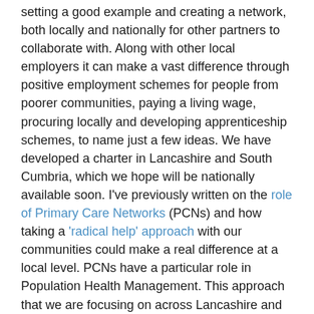setting a good example and creating a network, both locally and nationally for other partners to collaborate with. Along with other local employers it can make a vast difference through positive employment schemes for people from poorer communities, paying a living wage, procuring locally and developing apprenticeship schemes, to name just a few ideas. We have developed a charter in Lancashire and South Cumbria, which we hope will be nationally available soon. I've previously written on the role of Primary Care Networks (PCNs) and how taking a 'radical help' approach with our communities could make a real difference at a local level. PCNs have a particular role in Population Health Management. This approach that we are focusing on across Lancashire and South Cumbria uses the best in data science and enables health teams to focus in on the areas of greatest need, working with those communities to bring about change through co-creation. If the NHS is really serious about 'levelling up', however, one thing which must be explored is the national funding formula. If we're serious about Population Health, we must be much more comfortable with allocating resources according to Indices of Multiple Deprivation. We must also change what we measure and ensure that Key Performance Indicators and clinical funding streams are much more aligned to this entire agenda. Incentives do change behaviour and we need to make sure that we're getting them right, whilst permissioning PCNs, in particular, to have a change in focus. We need